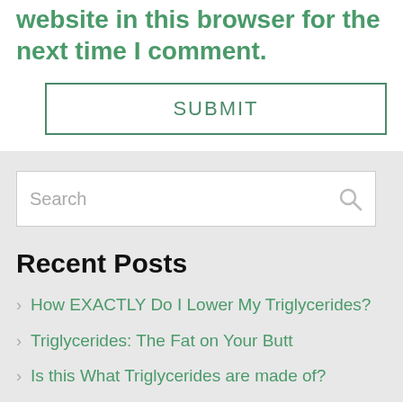website in this browser for the next time I comment.
SUBMIT
Search
Recent Posts
How EXACTLY Do I Lower My Triglycerides?
Triglycerides: The Fat on Your Butt
Is this What Triglycerides are made of?